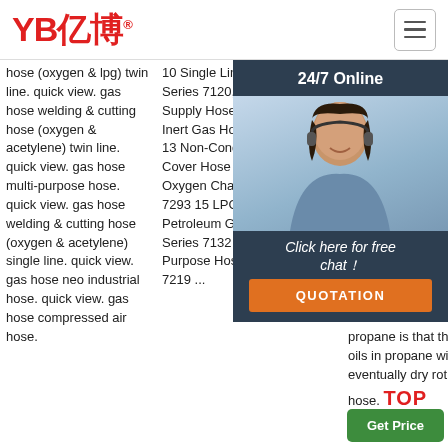[Figure (logo): YB亿博 logo in red with registered trademark symbol]
[Figure (infographic): Hamburger menu button (three horizontal lines) in top right corner]
hose (oxygen & lpg) twin line. quick view. gas hose welding & cutting hose (oxygen & acetylene) twin line. quick view. gas hose multi-purpose hose. quick view. gas hose welding & cutting hose (oxygen & acetylene) single line. quick view. gas hose neo industrial hose. quick view. gas hose compressed air hose.
10 Single Line Welding Hose Series 7120, 7121 11 Oxygen Supply Hose Series 7031R 12 Inert Gas Hose Series 7123 13 Non-Conductive Cable Cover Hose Series 7172 14 Oxygen Charging Hose Series 7293 15 LPG (Liquefied Petroleum Gas Propane) Hose Series 7132 16 Air & Multi-Purpose Hose Series 7395, 7219 ...
designed & recommended for acetylene, oxygen, years. The was of the hose not for propane gas. The recommended propane is that the oils in propane will eventually dry rot the hose.
[Figure (infographic): 24/7 Online chat widget with dark background, agent photo, 'Click here for free chat!' text and orange QUOTATION button]
[Figure (infographic): Get Price green button at bottom right]